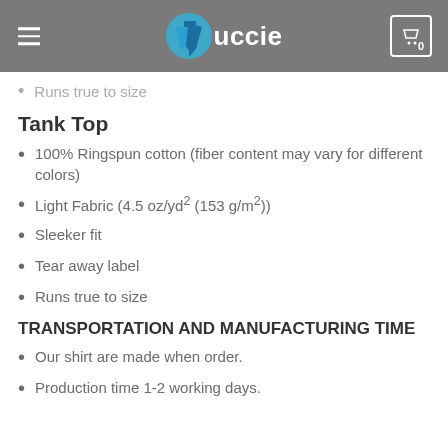Vuccie
Runs true to size
Tank Top
100% Ringspun cotton (fiber content may vary for different colors)
Light Fabric (4.5 oz/yd² (153 g/m²))
Sleeker fit
Tear away label
Runs true to size
TRANSPORTATION AND MANUFACTURING TIME
Our shirt are made when order.
Production time 1-2 working days.